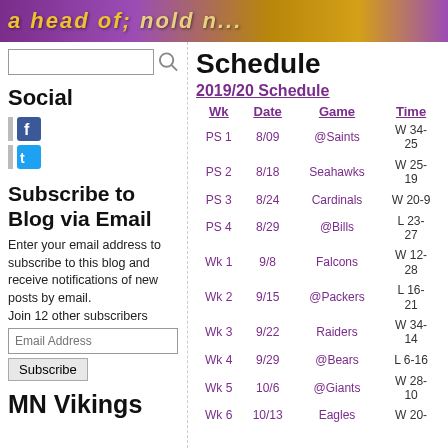ahead of your time (banner)
Social
Subscribe to Blog via Email
Enter your email address to subscribe to this blog and receive notifications of new posts by email.
Join 12 other subscribers
MN Vikings
Schedule
2019/20 Schedule
| Wk | Date | Game | Time |
| --- | --- | --- | --- |
| PS 1 | 8/09 | @Saints | W 34-25 |
| PS 2 | 8/18 | Seahawks | W 25-19 |
| PS 3 | 8/24 | Cardinals | W 20-9 |
| PS 4 | 8/29 | @Bills | L 23-27 |
| Wk 1 | 9/8 | Falcons | W 12-28 |
| Wk 2 | 9/15 | @Packers | L 16-21 |
| Wk 3 | 9/22 | Raiders | W 34-14 |
| Wk 4 | 9/29 | @Bears | L 6-16 |
| Wk 5 | 10/6 | @Giants | W 28-10 |
| Wk 6 | 10/13 | Eagles | W 20- |